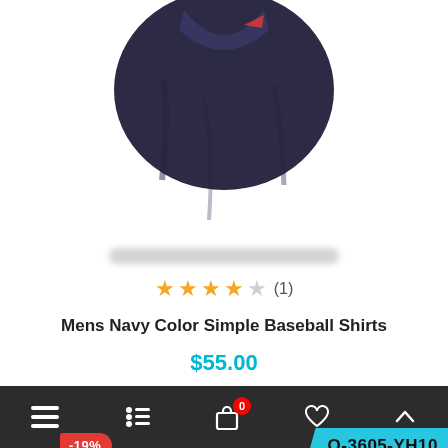[Figure (photo): Top portion of a navy blue baseball shirt on white background, cropped at the collar/shoulders area]
[Figure (other): Blurred horizontal bar representing thumbnail navigation or product color swatches]
★★★★☆ (1)
Mens Navy Color Simple Baseball Shirts
$55.00
🛒 ADD TO CART
[Figure (photo): Purple and white baseball/basketball jersey shirt on a wooden hanger, partially visible, with a -19% discount badge on the left and a Q-3605-YH10 SKU label on the right]
≡  ⚙  🛒 0  ♡  ∧